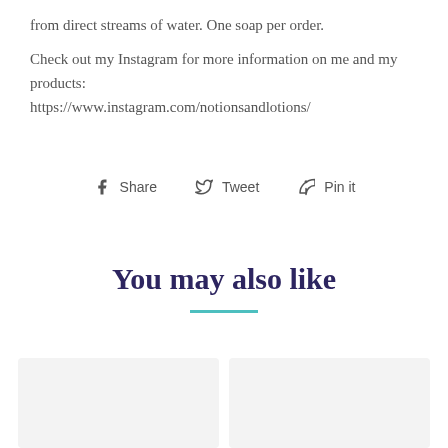from direct streams of water. One soap per order.
Check out my Instagram for more information on me and my products: https://www.instagram.com/notionsandlotions/
Share  Tweet  Pin it
You may also like
[Figure (other): Two product placeholder cards side by side]